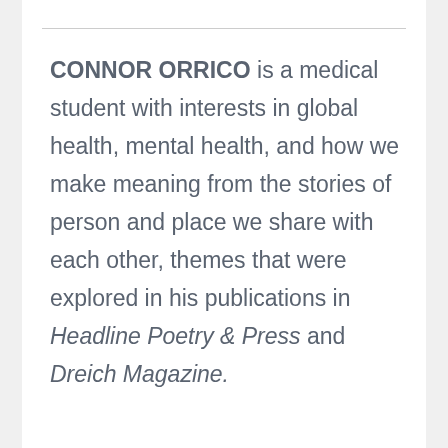CONNOR ORRICO is a medical student with interests in global health, mental health, and how we make meaning from the stories of person and place we share with each other, themes that were explored in his publications in Headline Poetry & Press and Dreich Magazine.